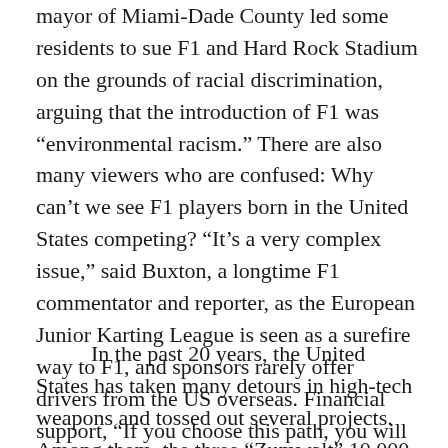mayor of Miami-Dade County led some residents to sue F1 and Hard Rock Stadium on the grounds of racial discrimination, arguing that the introduction of F1 was "environmental racism." There are also many viewers who are confused: Why can't we see F1 players born in the United States competing? "It's a very complex issue," said Buxton, a longtime F1 commentator and reporter, as the European Junior Karting League is seen as a surefire way to F1, and sponsors rarely offer drivers from the US overseas. Financial support, "If you choose this path, you will be looked down upon because you betrayed your hometown – after all, America has its own motorsport: NASCAR and IndyCar".
In the past 20 years, the United States has taken many detours in high-tech weapons and tossed out several projects. Among them, the three "Zumwalt" 10,000-ton stealth guided missile destroyers are typical.